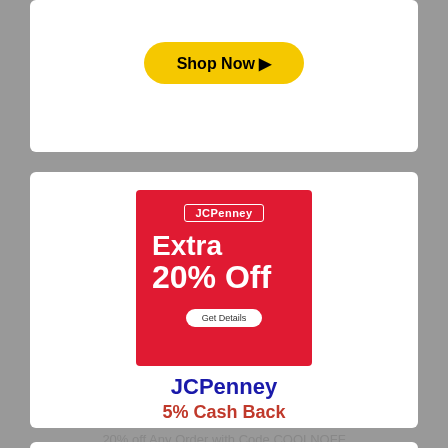[Figure (screenshot): Top white card (partial) with a yellow 'Shop Now ▶' button centered]
[Figure (illustration): JCPenney red advertisement box showing 'Extra 20% Off' with a 'Get Details' button]
JCPenney
5% Cash Back
20% off Any Order with Code COOLNOFF
[Figure (screenshot): Yellow 'Shop Now ▶' button]
[Figure (screenshot): Bottom white card (partial) with a black image at the top]